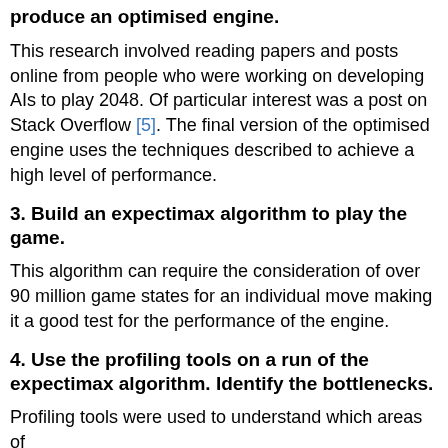produce an optimised engine.
This research involved reading papers and posts online from people who were working on developing AIs to play 2048. Of particular interest was a post on Stack Overflow [5]. The final version of the optimised engine uses the techniques described to achieve a high level of performance.
3. Build an expectimax algorithm to play the game.
This algorithm can require the consideration of over 90 million game states for an individual move making it a good test for the performance of the engine.
4. Use the profiling tools on a run of the expectimax algorithm. Identify the bottlenecks.
Profiling tools were used to understand which areas of